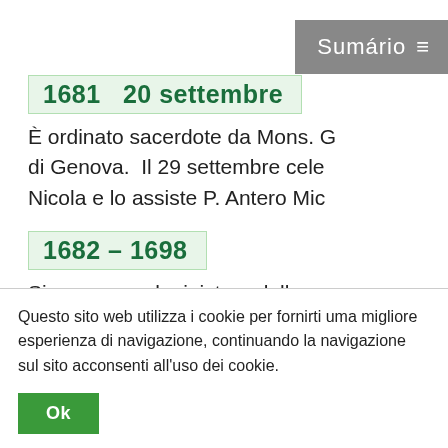Sumário ≡
1681  20 settembre
È ordinato sacerdote da Mons. [di Genova. Il 29 settembre cele Nicola e lo assiste P. Antero Mic
1682 - 1698
Si consacra al ministero della p
Questo sito web utilizza i cookie per fornirti uma migliore esperienza di navigazione, continuando la navigazione sul sito acconsenti all'uso dei cookie.
Ok